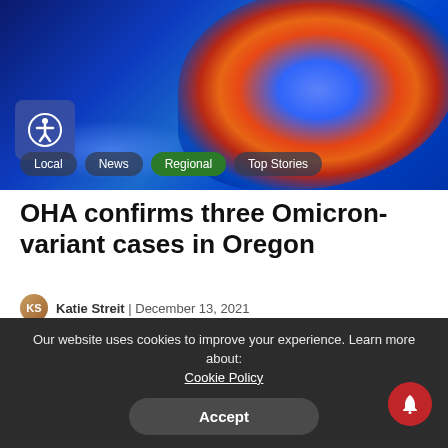[Figure (photo): Close-up microscopic image of a coronavirus/virus particle with blue and orange coloring against a dark blue background, with category pills overlaid: Local, News, Regional (active/green), Top Stories]
OHA confirms three Omicron-variant cases in Oregon
Katie Streit | December 13, 2021
[Figure (photo): Grayscale photo of a building exterior with the Oregon Health Authority (OHA) logo/sign visible]
Our website uses cookies to improve your experience. Learn more about: Cookie Policy
Accept